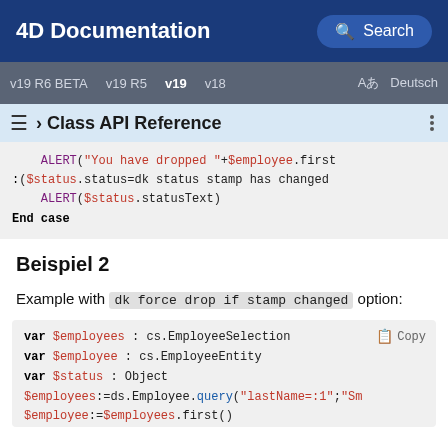4D Documentation | Search
v19 R6 BETA  v19 R5  v19  v18  Aあ Deutsch
› Class API Reference
ALERT("You have dropped "+$employee.first
:($status.status=dk status stamp has changed
    ALERT($status.statusText)
End case
Beispiel 2
Example with dk force drop if stamp changed option:
var $employees : cs.EmployeeSelection
var $employee : cs.EmployeeEntity
var $status : Object
$employees:=ds.Employee.query("lastName=:1";"Sm
$employee:=$employees.first()